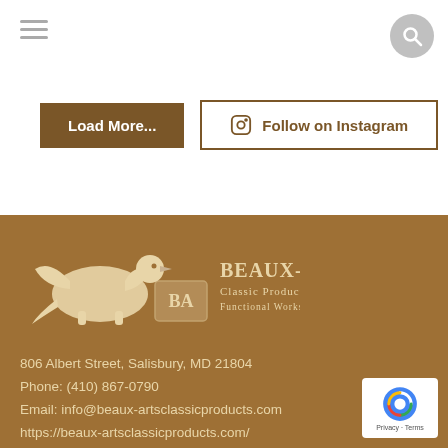Navigation bar with hamburger menu and search icon
Load More...
Follow on Instagram
[Figure (logo): Beaux-Arts Classic Products logo with griffin and shield — BEAUX-ARTS Classic Products Functional Works of Art]
806 Albert Street, Salisbury, MD 21804
Phone: (410) 867-0790
Email: info@beaux-artsclassicproducts.com
https://beaux-artsclassicproducts.com/
[Figure (other): reCAPTCHA badge with Privacy and Terms links]